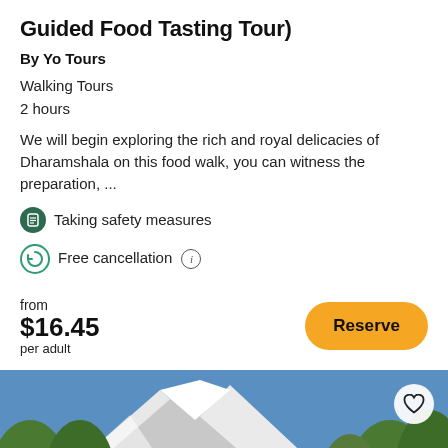Guided Food Tasting Tour)
By Yo Tours
Walking Tours
2 hours
We will begin exploring the rich and royal delicacies of Dharamshala on this food walk, you can witness the preparation, ...
Taking safety measures
Free cancellation
from $16.45 per adult
[Figure (photo): Group of tourists posing in front of a mountain landscape with snow-capped peaks and pine trees, with a heart/save button overlay.]